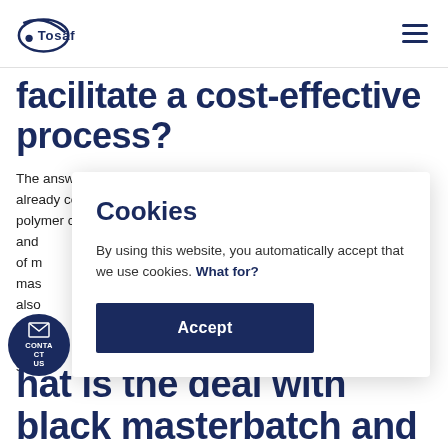Tosaf (logo) — navigation header with hamburger menu
facilitate a cost-effective process?
The answer is yes. The alternative is purchasing raw polymer that is already colored, and that is much more expensive. Uncolored polymer costs much less, and [partially obscured] ls of m[asterbatch] mas[terbatch] also[ ] e reas[on] g, and [ ] h supp[ort]
Cookies
By using this website, you automatically accept that we use cookies. What for?
Accept
hat is the deal with black masterbatch and